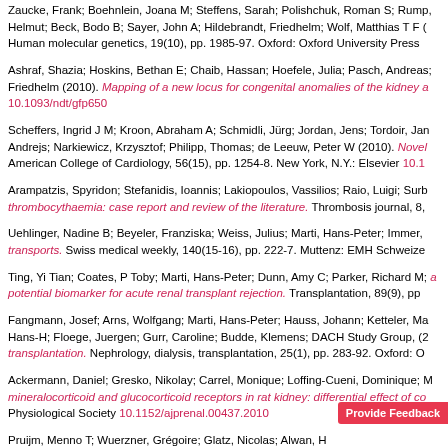Zaucke, Frank; Boehnlein, Joana M; Steffens, Sarah; Polishchuk, Roman S; Rump, Helmut; Beck, Bodo B; Sayer, John A; Hildebrandt, Friedhelm; Wolf, Matthias T F. Human molecular genetics, 19(10), pp. 1985-97. Oxford: Oxford University Press
Ashraf, Shazia; Hoskins, Bethan E; Chaib, Hassan; Hoefele, Julia; Pasch, Andreas; Friedhelm (2010). Mapping of a new locus for congenital anomalies of the kidney a... 10.1093/ndt/gfp650
Scheffers, Ingrid J M; Kroon, Abraham A; Schmidli, Jürg; Jordan, Jens; Tordoir, Jan; Andrejs; Narkiewicz, Krzysztof; Philipp, Thomas; de Leeuw, Peter W (2010). Novel... American College of Cardiology, 56(15), pp. 1254-8. New York, N.Y.: Elsevier 10.1...
Arampatzis, Spyridon; Stefanidis, Ioannis; Lakiopoulos, Vassilios; Raio, Luigi; Surb... thrombocythaemia: case report and review of the literature. Thrombosis journal, 8,
Uehlinger, Nadine B; Beyeler, Franziska; Weiss, Julius; Marti, Hans-Peter; Immer,... transports. Swiss medical weekly, 140(15-16), pp. 222-7. Muttenz: EMH Schweize...
Ting, Yi Tian; Coates, P Toby; Marti, Hans-Peter; Dunn, Amy C; Parker, Richard M;... a potential biomarker for acute renal transplant rejection. Transplantation, 89(9), pp...
Fangmann, Josef; Arns, Wolfgang; Marti, Hans-Peter; Hauss, Johann; Ketteler, Ma... Hans-H; Floege, Juergen; Gurr, Caroline; Budde, Klemens; DACH Study Group, (2... transplantation. Nephrology, dialysis, transplantation, 25(1), pp. 283-92. Oxford: O...
Ackermann, Daniel; Gresko, Nikolay; Carrel, Monique; Loffing-Cueni, Dominique; M... mineralocorticoid and glucocorticoid receptors in rat kidney: differential effect of co... Physiological Society 10.1152/ajprenal.00437.2010
Pruijm, Menno T; Wuerzner, Grégoire; Glatz, Nicolas; Alwan, H...